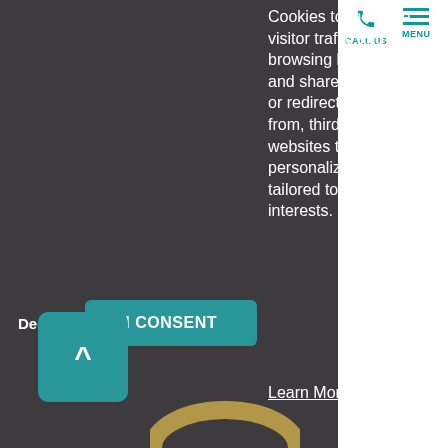Cookies to measure visitor traffic and browsing behavior and share data with, or redirect users from, third-party websites to define personalized offers tailored to your interests.
Learn More
Decline
I CONSENT
CALL US
MENU
^